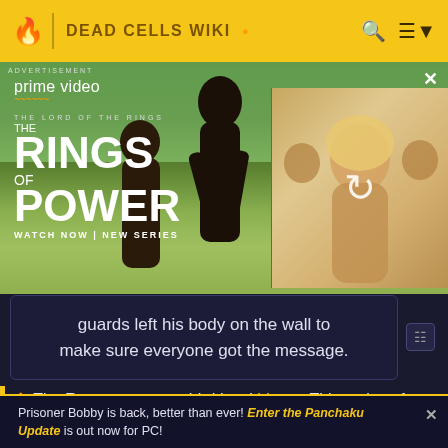DEAD CELLS WIKI
[Figure (photo): Amazon Prime Video advertisement for 'The Lord of the Rings: The Rings of Power' showing two characters in a field, with a secondary thumbnail showing a blonde woman and a reload icon. Text reads: ADVERTISEMENT, prime video, THE LORD OF THE RINGS, THE RINGS OF POWER, WATCH NOW | NEW SERIES]
guards left his body on the wall to make sure everyone got the message.
The Ramparts are a third level biome. This series of towers lays high within the sky of the island, rising into the air. The glow of a beautiful sunset does not match the
Prisoner Bobby is back, better than ever! Enter the Panchaku Update is out now for PC!